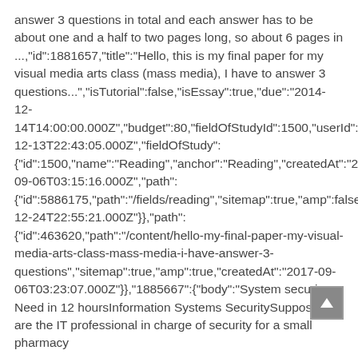answer 3 questions in total and each answer has to be about one and a half to two pages long, so about 6 pages in …,"id":1881657,"title":"Hello, this is my final paper for my visual media arts class (mass media), I have to answer 3 questions...","isTutorial":false,"isEssay":true,"due":"2014-12-14T14:00:00.000Z","budget":80,"fieldOfStudyId":1500,"userId":373092,"published":true,"newBids":0,"createdAt":"2014-12-13T22:43:05.000Z","fieldOfStudy":{"id":1500,"name":"Reading","anchor":"Reading","createdAt":"2017-09-06T03:15:16.000Z","path":{"id":5886175,"path":"/fields/reading","sitemap":true,"amp":false,"createdAt":"2017-12-24T22:55:21.000Z"}},"path":{"id":463620,"path":"/content/hello-my-final-paper-my-visual-media-arts-class-mass-media-i-have-answer-3-questions","sitemap":true,"amp":true,"createdAt":"2017-09-06T03:23:07.000Z"}},"1885667":{"body":"System securi Need in 12 hoursInformation Systems SecuritySuppose you are the IT professional in charge of security for a small pharmacy